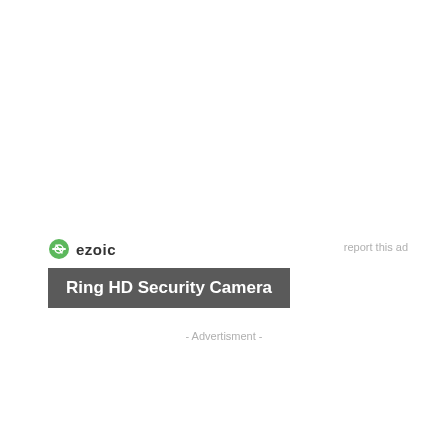[Figure (logo): Ezoic logo with green circular icon and bold black 'ezoic' text]
report this ad
Ring HD Security Camera
- Advertisment -